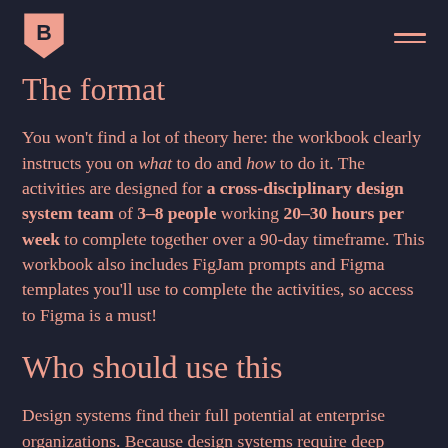[Logo: B shield icon] [hamburger menu]
The format
You won't find a lot of theory here: the workbook clearly instructs you on what to do and how to do it. The activities are designed for a cross-disciplinary design system team of 3–8 people working 20–30 hours per week to complete together over a 90-day timeframe. This workbook also includes FigJam prompts and Figma templates you'll use to complete the activities, so access to Figma is a must!
Who should use this
Design systems find their full potential at enterprise organizations. Because design systems require deep